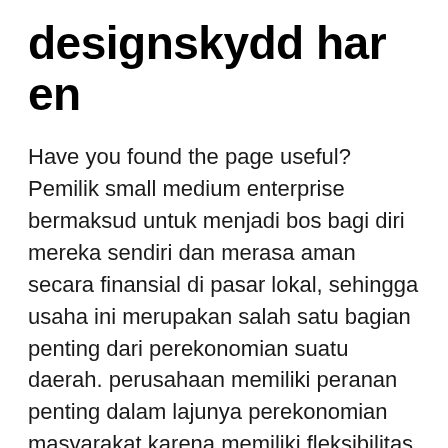designskydd har en
Have you found the page useful? Pemilik small medium enterprise bermaksud untuk menjadi bos bagi diri mereka sendiri dan merasa aman secara finansial di pasar lokal, sehingga usaha ini merupakan salah satu bagian penting dari perekonomian suatu daerah. perusahaan memiliki peranan penting dalam lajunya perekonomian masyarakat karena memiliki fleksibilitas yang tinggi dibandingkan dengan usaha yang berkapasitas lebih besar Getting an SME from A to Z. At Athlon, our customers are always our starting point. No matter how big or small their fleet.
It is therefore imperative that